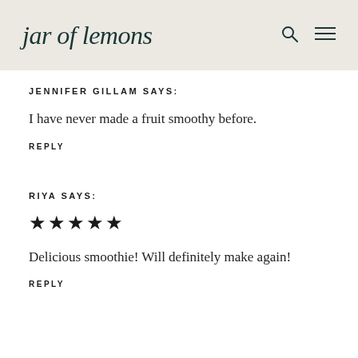jar of lemons
JENNIFER GILLAM SAYS:
I have never made a fruit smoothy before.
REPLY
RIYA SAYS:
★★★★★
Delicious smoothie! Will definitely make again!
REPLY